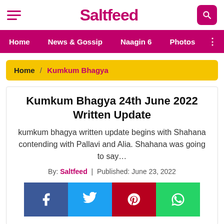Saltfeed
Home  /  News & Gossip  /  Naagin 6  /  Photos
Home / Kumkum Bhagya
Kumkum Bhagya 24th June 2022 Written Update
kumkum bhagya written update begins with Shahana contending with Pallavi and Alia. Shahana was going to say...
By: Saltfeed  |  Published: June 23, 2022
[Figure (infographic): Social share buttons: Facebook (blue), Twitter (light blue), Pinterest (dark red), WhatsApp (green)]